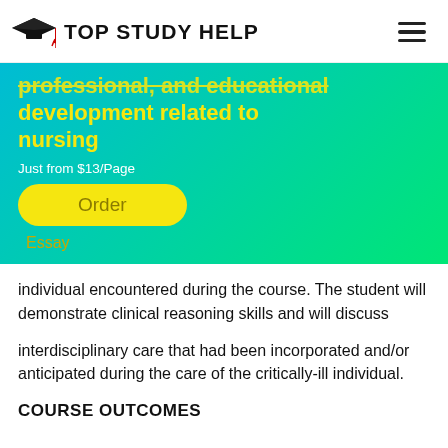TOP STUDY HELP
professional, and educational development related to nursing
Just from $13/Page
Order
Essay
individual encountered during the course. The student will demonstrate clinical reasoning skills and will discuss
interdisciplinary care that had been incorporated and/or anticipated during the care of the critically-ill individual.
COURSE OUTCOMES